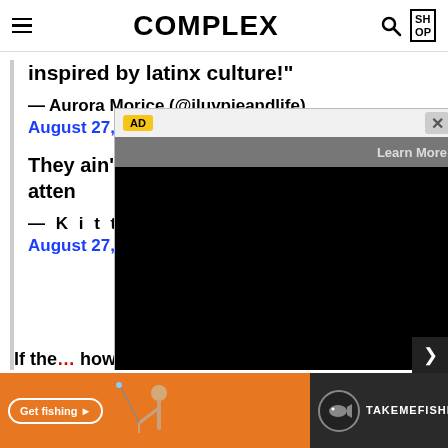COMPLEX
inspired by latinx culture!"
— Aurora Morice (@iluvpieandlife)
August 27, 2017
They ain't s[...] them atten[...] these puta[...] make up a[...]
— K i t t y K[...]
August 27,[...]
[Figure (screenshot): AD overlay with video player showing black screen and Learn More button, with AD badge and close button]
[Figure (screenshot): Bottom banner advertisement for TakeMeFishing with orange background, Get fishing button, and fishing logo]
If the[...] howe[...] east